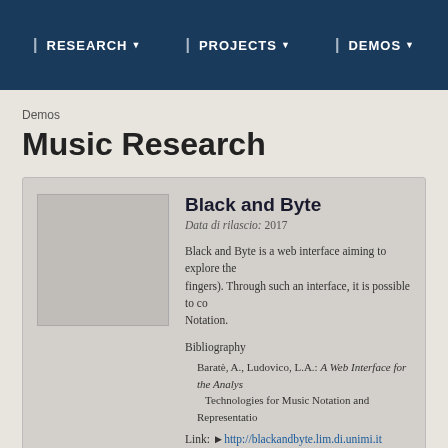| RESEARCH ▼   | PROJECTS ▼   | DEMOS ▼
Demos
Music Research
[Figure (other): Placeholder image thumbnail for Black and Byte demo]
Black and Byte
Data di rilascio: 2017
Black and Byte is a web interface aiming to explore the fingers). Through such an interface, it is possible to co... Notation.
Bibliography
Baratè, A., Ludovico, L.A.: A Web Interface for the Analys... Technologies for Music Notation and Representatio...
Link: ►http://blackandbyte.lim.di.unimi.it
Contact: ►Adriano Baratè